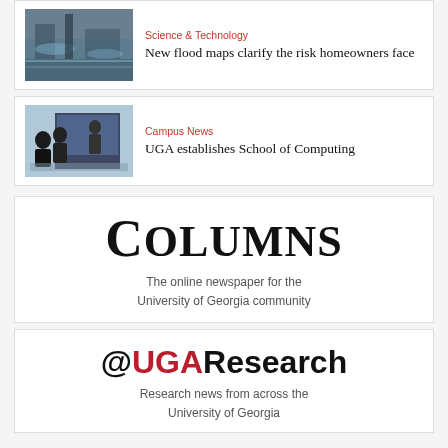[Figure (photo): Flooded street scene with water covering road and infrastructure]
Science & Technology
New flood maps clarify the risk homeowners face
[Figure (photo): Students and instructor in a classroom or computing lab setting]
Campus News
UGA establishes School of Computing
[Figure (logo): Columns - The online newspaper for the University of Georgia community logo]
The online newspaper for the University of Georgia community
[Figure (logo): @UGAResearch - Research news from across the University of Georgia logo]
Research news from across the University of Georgia